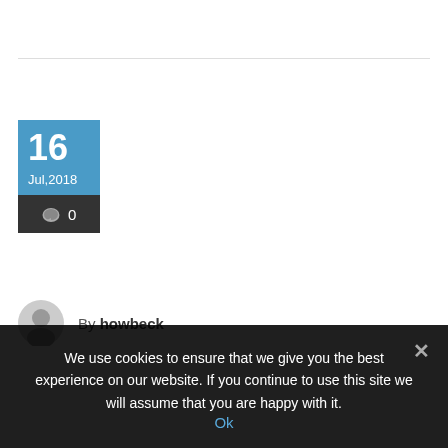[Figure (other): Date card showing '16 Jul,2018' in blue section and comment count '0' in dark section]
By howbeck
We use cookies to ensure that we give you the best experience on our website. If you continue to use this site we will assume that you are happy with it.
Ok